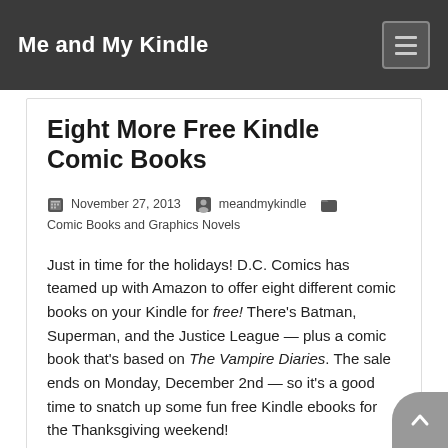Me and My Kindle
Eight More Free Kindle Comic Books
November 27, 2013  meandmykindle  Comic Books and Graphics Novels
Just in time for the holidays! D.C. Comics has teamed up with Amazon to offer eight different comic books on your Kindle for free! There's Batman, Superman, and the Justice League — plus a comic book that's based on The Vampire Diaries. The sale ends on Monday, December 2nd — so it's a good time to snatch up some fun free Kindle ebooks for the Thanksgiving weekend!